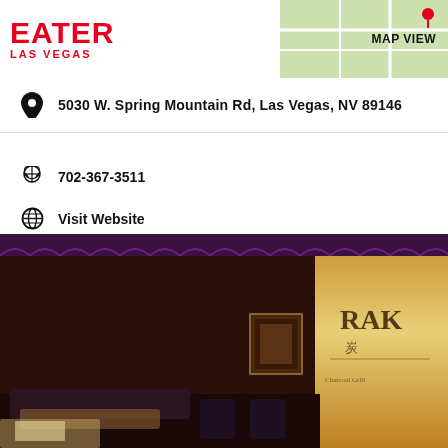EATER LAS VEGAS
MAP VIEW
5030 W. Spring Mountain Rd, Las Vegas, NV 89146
702-367-3511
Visit Website
[Figure (photo): Interior of Raku restaurant in Las Vegas showing dark dining room with warm wood tones, booth seating, a framed artwork on the wall, and the Raku restaurant logo/sign visible on the right side]